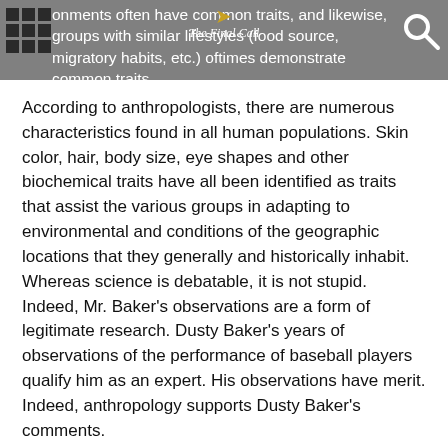onments often have common traits, and likewise, groups with similar lifestyles (food source, migratory habits, etc.) oftimes demonstrate common traits. [The Final Call logo]
According to anthropologists, there are numerous characteristics found in all human populations. Skin color, hair, body size, eye shapes and other biochemical traits have all been identified as traits that assist the various groups in adapting to environmental and conditions of the geographic locations that they generally and historically inhabit. Whereas science is debatable, it is not stupid. Indeed, Mr. Baker's observations are a form of legitimate research. Dusty Baker's years of observations of the performance of baseball players qualify him as an expert. His observations have merit. Indeed, anthropology supports Dusty Baker's comments.
(Dr. Harry Davidson is co-chair of the Legislative Advisory Committee of the Association of Black Psychologists.)